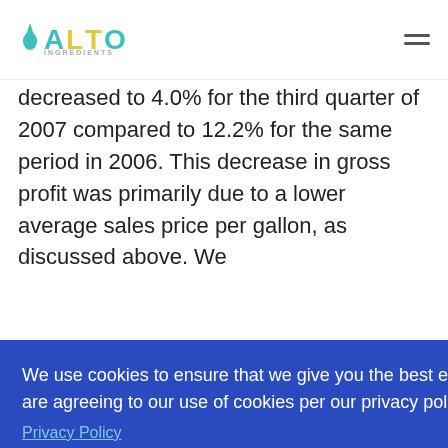ALTO INGREDIENTS
decreased to 4.0% for the third quarter of 2007 compared to 12.2% for the same period in 2006. This decrease in gross profit was primarily due to a lower average sales price per gallon, as discussed above. We
r 30,
rice,
ne to
oss of
hich
eriods.
llion
We use cookies to ensure that we give you the best experience on our website. By accepting, you are agreeing to our use of cookies per our privacy policy.
Privacy Policy
Decline
Allow cookies